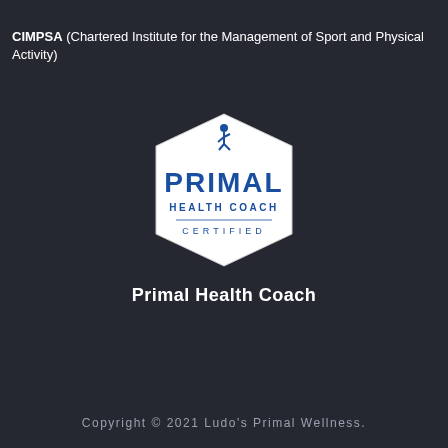CIMPSA (Chartered Institute for the Management of Sport and Physical Activity)
[Figure (logo): Primal Health Coach Certified badge/logo — hexagonal white badge with blue text reading PRIMAL HEALTH COACH CERTIFIED and a figure icon at top]
Primal Health Coach
Copyright © 2021 Ludo's Primal Wellness.